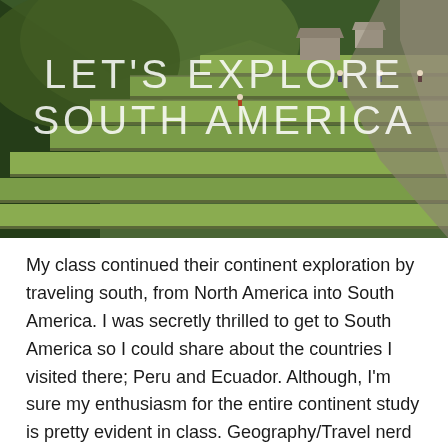[Figure (photo): Aerial photo of Machu Picchu terraces with green grass, stone walls, and small buildings. Mountains and forest visible in background. Text overlay reads 'LET'S EXPLORE SOUTH AMERICA'.]
My class continued their continent exploration by traveling south, from North America into South America. I was secretly thrilled to get to South America so I could share about the countries I visited there; Peru and Ecuador. Although, I'm sure my enthusiasm for the entire continent study is pretty evident in class. Geography/Travel nerd alert!